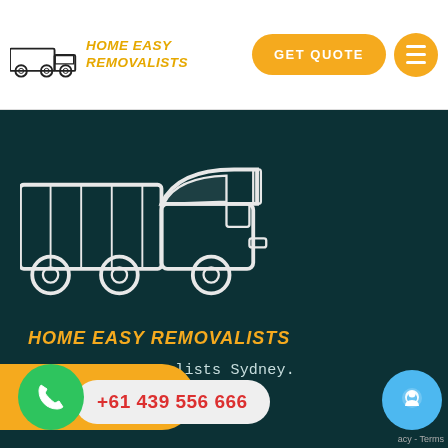[Figure (logo): Home Easy Removalists logo with truck icon and yellow italic text]
HOME EASY REMOVALISTS
[Figure (illustration): Large white outline truck illustration on dark teal background]
HOME EASY REMOVALISTS
Home Easy Removalists Sydney.
+61 439 556 666